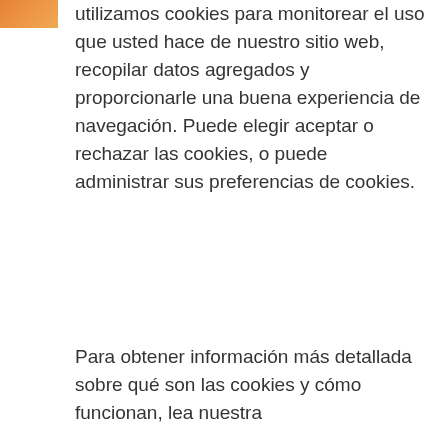utilizamos cookies para monitorear el uso que usted hace de nuestro sitio web, recopilar datos agregados y proporcionarle una buena experiencia de navegación. Puede elegir aceptar o rechazar las cookies, o puede administrar sus preferencias de cookies.
Para obtener información más detallada sobre qué son las cookies y cómo funcionan, lea nuestra
BHP > Noticias > Noticias
BHP community partnership launches new quarantine facility for Indigenous people
Política de cookies.
Administrar cookies →
Rechazar Todo
Aceptar